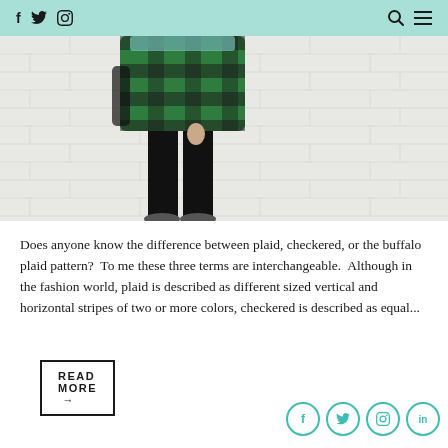f  Twitter  Pinterest  Instagram    Search  Menu
[Figure (photo): Person wearing a green and black buffalo plaid/checkered flannel shirt over black leggings, standing against a white brick wall, cropped at mid-torso.]
Does anyone know the difference between plaid, checkered, or the buffalo plaid pattern?  To me these three terms are interchangeable.  Although in the fashion world, plaid is described as different sized vertical and horizontal stripes of two or more colors, checkered is described as equal...
READ MORE →
f  t  p  in